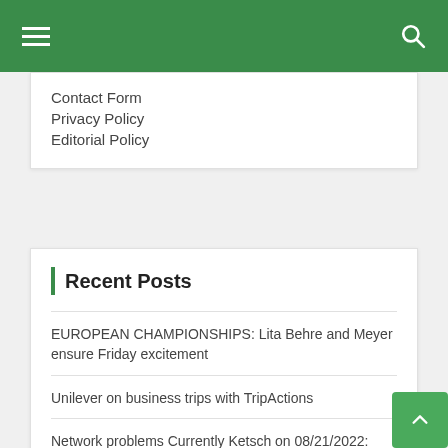Navigation menu header with hamburger icon and search icon
Contact Form
Privacy Policy
Editorial Policy
Recent Posts
EUROPEAN CHAMPIONSHIPS: Lita Behre and Meyer ensure Friday excitement
Unilever on business trips with TripActions
Network problems Currently Ketsch on 08/21/2022: Here there are disturbances in the power grid
Vitamin D may help treat depression, Gütsel Online, OWL live